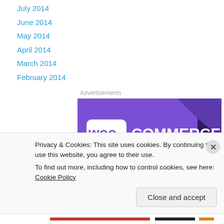July 2014
June 2014
May 2014
April 2014
March 2014
February 2014
Advertisements
[Figure (logo): WooCommerce advertisement banner with purple background and teal accent, white WooCommerce logo text]
Privacy & Cookies: This site uses cookies. By continuing to use this website, you agree to their use.
To find out more, including how to control cookies, see here: Cookie Policy
Close and accept